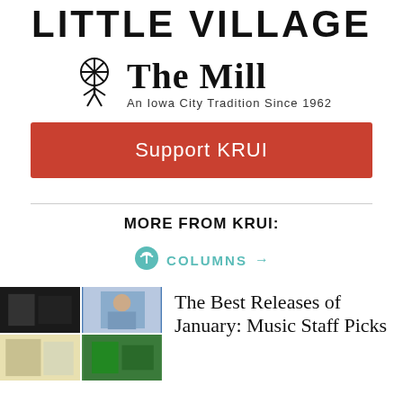LITTLE VILLAGE
[Figure (logo): The Mill restaurant logo — mill wheel icon on left, 'The Mill' in bold serif text, tagline 'An Iowa City Tradition Since 1962']
Support KRUI
MORE FROM KRUI:
COLUMNS →
[Figure (photo): Collage of music album covers thumbnail image]
The Best Releases of January: Music Staff Picks